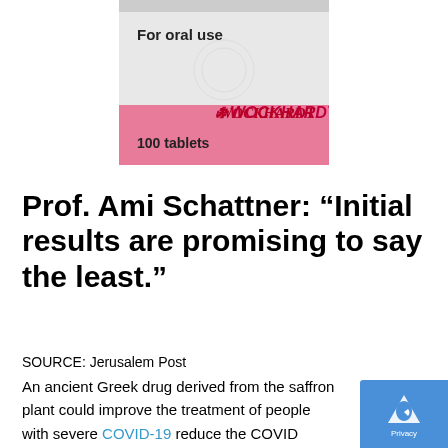[Figure (photo): Partial image of a Wockhardt pharmaceutical tablet box showing 'For oral use' text and '100 tablets' label with pink and white packaging design]
Prof. Ami Schattner: “Initial results are promising to say the least.”
SOURCE: Jerusalem Post
An ancient Greek drug derived from the saffron plant could improve the treatment of people with severe COVID-19 reduce the COVID mortality rate by as much as 50%, according to a report published earlier this month in